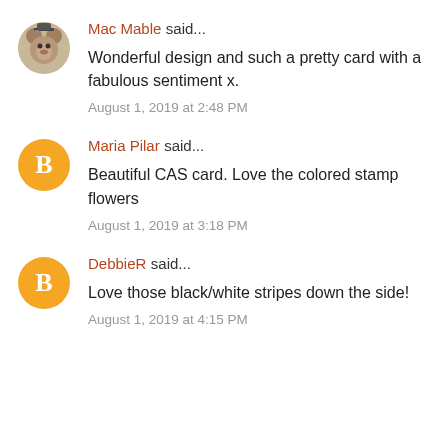Mac Mable said...
Wonderful design and such a pretty card with a fabulous sentiment x.
August 1, 2019 at 2:48 PM
Maria Pilar said...
Beautiful CAS card. Love the colored stamp flowers
August 1, 2019 at 3:18 PM
DebbieR said...
Love those black/white stripes down the side!
August 1, 2019 at 4:15 PM